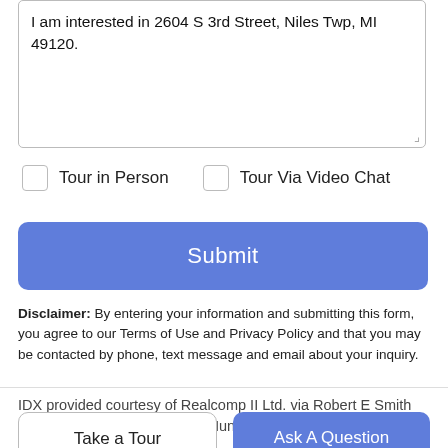I am interested in 2604 S 3rd Street, Niles Twp, MI 49120.
Tour in Person
Tour Via Video Chat
Submit
Disclaimer: By entering your information and submitting this form, you agree to our Terms of Use and Privacy Policy and that you may be contacted by phone, text message and email about your inquiry.
IDX provided courtesy of Realcomp II Ltd. via Robert E Smith Realty | The Agency Hall and Hunter and Southwestern Michigan
Take a Tour
Ask A Question